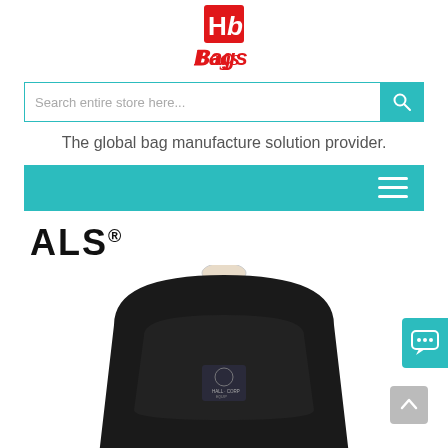[Figure (logo): HB Bags logo — red square with white 'Hb' letters and red 'Bags' script text below]
[Figure (screenshot): Search bar with teal border and teal search button with magnifying glass icon, placeholder text 'Search entire store here...']
The global bag manufacture solution provider.
[Figure (screenshot): Teal navigation bar with hamburger menu icon on the right]
ALS®
[Figure (photo): Black backpack with ALS brand patch, beige top handle, front zip pocket, photographed from slightly above on white background]
[Figure (other): Teal chat widget with speech bubble icon on right edge]
[Figure (other): Grey scroll-to-top arrow button]